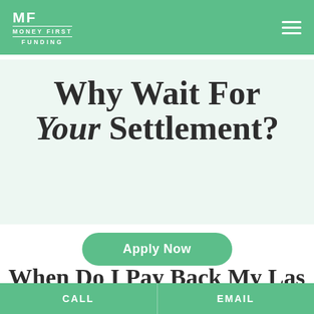MF MONEY FIRST FUNDING
Why Wait For Your Settlement?
Apply Now
When Do I Pay Back My Las Vegas Pre-Settlement Loan?
CALL  EMAIL